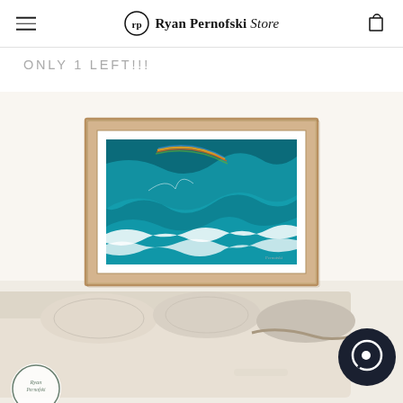Ryan Pernofski Store
ONLY 1 LEFT!!!
[Figure (photo): Framed aerial ocean photograph showing turquoise waves with a rainbow, displayed on a white wall above a white linen couch with cushions. The frame is light natural wood. A chat bubble icon appears in the bottom right. A Ryan Pernofski watermark logo is in the bottom left.]